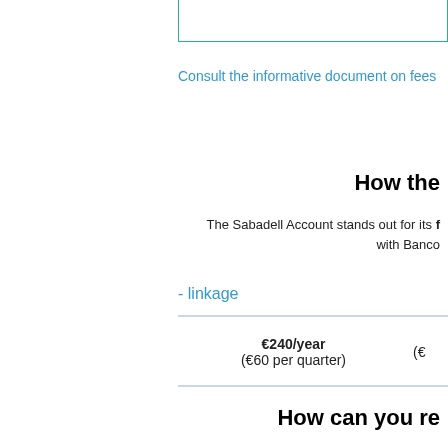Consult the informative document on fees
How the
The Sabadell Account stands out for its flexibility and linkage with Banco
- linkage
| €240/year
(€60 per quarter) | (€ |
How can you re